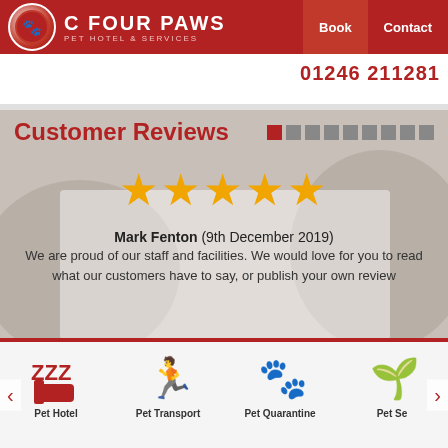[Figure (logo): C Four Paws Pet Hotel & Services logo with red circle containing paw print icons, white text header with red background, Book and Contact navigation buttons]
01246 211281
Customer Reviews
[Figure (infographic): Five gold star rating display]
Mark Fenton (9th December 2019)
We are proud of our staff and facilities. We would love for you to read what our customers have to say, or publish your own review
[Figure (infographic): Footer icons row: Pet Hotel (sleeping/zzz icon), Pet Transport (motorcycle/running figure icon), Pet Quarantine (paw on hand icon), Pet Se... (partial, flower/plant icon). Left and right navigation arrows visible.]